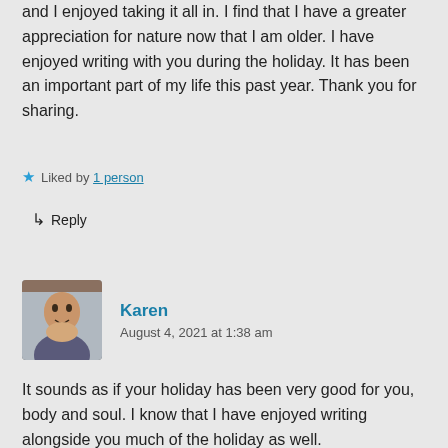and I enjoyed taking it all in. I find that I have a greater appreciation for nature now that I am older. I have enjoyed writing with you during the holiday. It has been an important part of my life this past year. Thank you for sharing.
★ Liked by 1 person
↳ Reply
Karen
August 4, 2021 at 1:38 am
It sounds as if your holiday has been very good for you, body and soul. I know that I have enjoyed writing alongside you much of the holiday as well.